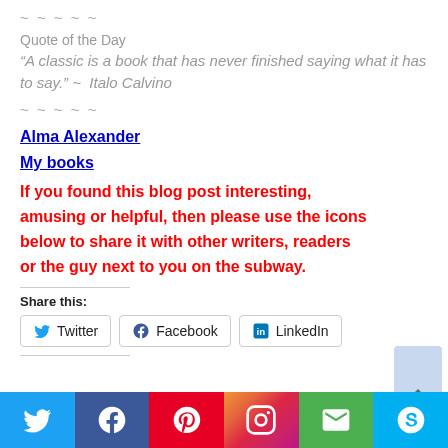~ ~ ~ ~ ~
Quote of the Day
“A classic is a book that has never finished saying what it has to say.” ~  Italo Calvino
~ ~ ~ ~ ~
Alma Alexander
My books
If you found this blog post interesting, amusing or helpful, then please use the icons below to share it with other writers, readers or the guy next to you on the subway.
Share this:
Twitter  Facebook  LinkedIn
[Figure (infographic): Social media sharing bar at bottom with Twitter, Facebook, Pinterest, Instagram, Email, Skype icons]